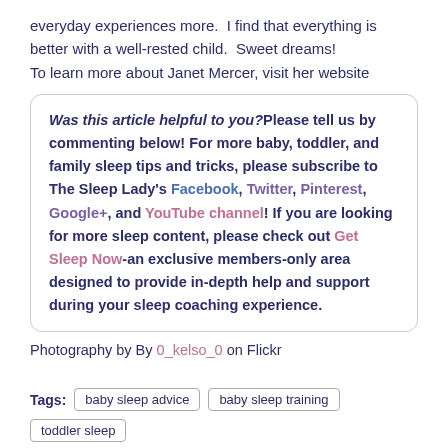everyday experiences more.  I find that everything is better with a well-rested child.  Sweet dreams!
To learn more about Janet Mercer, visit her website
Was this article helpful to you? Please tell us by commenting below! For more baby, toddler, and family sleep tips and tricks, please subscribe to The Sleep Lady's Facebook, Twitter, Pinterest, Google+, and YouTube channel! If you are looking for more sleep content, please check out Get Sleep Now-an exclusive members-only area designed to provide in-depth help and support during your sleep coaching experience.
Photography by By 0_kelso_0 on Flickr
Tags:  baby sleep advice  baby sleep training  toddler sleep